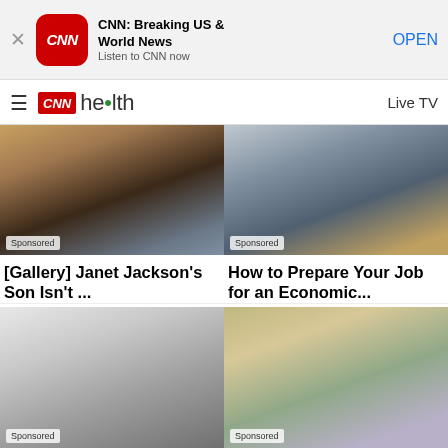[Figure (screenshot): CNN app banner ad with red CNN icon, title 'CNN: Breaking US & World News', subtitle 'Listen to CNN now', and OPEN button]
CNN health   Live TV
[Figure (photo): Woman holding a baby, sponsored ad image]
[Gallery] Janet Jackson's Son Isn't ...
DailyChoices
[Figure (photo): Man at desk on phone, sponsored ad image]
How to Prepare Your Job for an Economic...
Indeed
[Figure (photo): Black and white photo of a woman, sponsored ad image]
[Figure (photo): Man and woman couple photo, sponsored ad image]